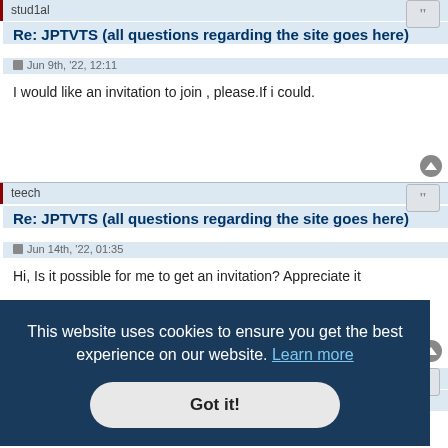stud1al
Re: JPTVTS (all questions regarding the site goes here)
Jun 9th, '22, 12:11
I would like an invitation to join , please.If i could.
teech
Re: JPTVTS (all questions regarding the site goes here)
Jun 14th, '22, 01:35
Hi, Is it possible for me to get an invitation? Appreciate it
I would like an invitation, please.
This website uses cookies to ensure you get the best experience on our website. Learn more
Got it!